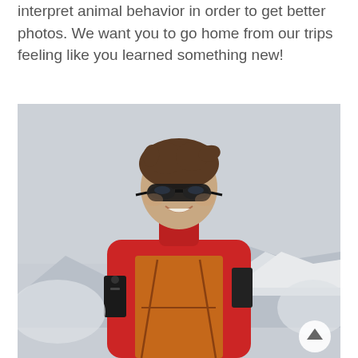interpret animal behavior in order to get better photos. We want you to go home from our trips feeling like you learned something new!
[Figure (photo): A smiling man wearing sunglasses and a red jacket with an orange vest and radio equipment, photographed outdoors with snowy mountains in the background.]